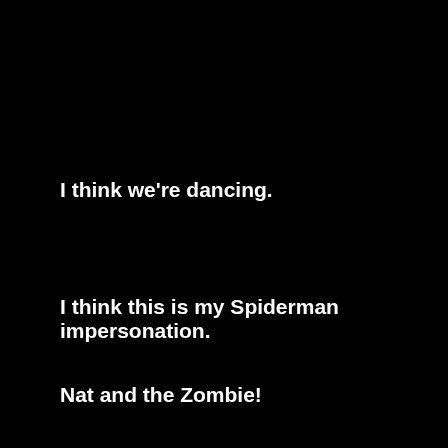I think we're dancing.
I think this is my Spiderman impersonation.
Nat and the Zombie!